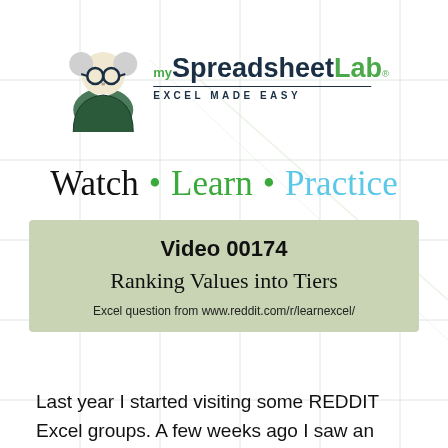[Figure (logo): mySpreadsheetLab logo with scientist character and text 'EXCEL MADE EASY']
Watch • Learn • Practice
Video 00174
Ranking Values into Tiers
Excel question from www.reddit.com/r/learnexcel/
Last year I started visiting some REDDIT Excel groups. A few weeks ago I saw an interesting Excel